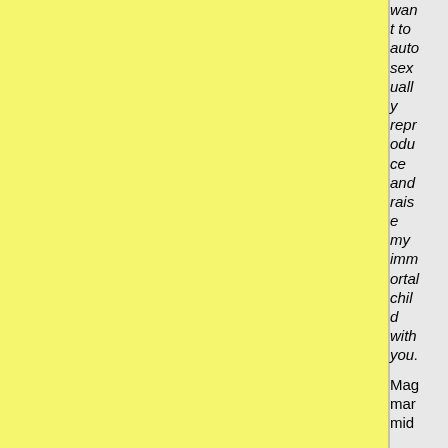want to autosexually reproduce and raise my immortal child with you.
Magmarmid